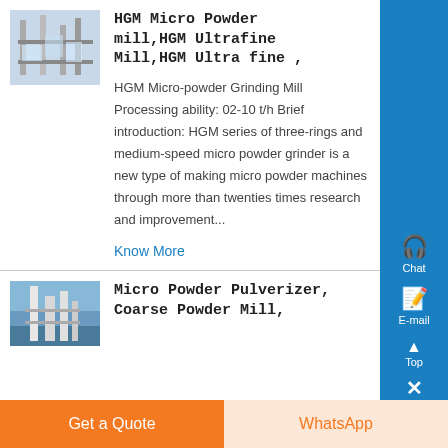HGM Micro Powder mill,HGM Ultrafine Mill,HGM Ultra fine ,
[Figure (photo): Industrial mill/grinding equipment facility photo]
HGM Micro-powder Grinding Mill Processing ability: 02-10 t/h Brief introduction: HGM series of three-rings and medium-speed micro powder grinder is a new type of making micro powder machines through more than twenties times research and improvement...
Know More
Micro Powder Pulverizer, Coarse Powder Mill,
[Figure (photo): Industrial pulverizer facility or plant photo]
Get a Quote
WhatsApp
[Figure (other): Right sidebar with Chat, E-mail, Top, and close buttons on blue background]